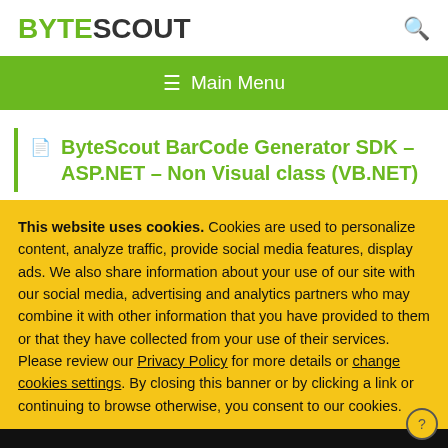BYTESCOUT
[Figure (other): Green navigation bar with hamburger menu icon and Main Menu text]
ByteScout BarCode Generator SDK – ASP.NET – Non Visual class (VB.NET)
This website uses cookies. Cookies are used to personalize content, analyze traffic, provide social media features, display ads. We also share information about your use of our site with our social media, advertising and analytics partners who may combine it with other information that you have provided to them or that they have collected from your use of their services. Please review our Privacy Policy for more details or change cookies settings. By closing this banner or by clicking a link or continuing to browse otherwise, you consent to our cookies.
OK